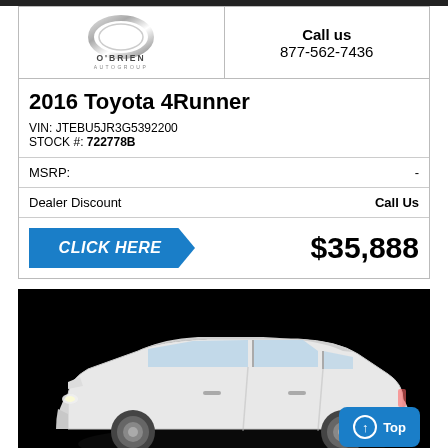[Figure (logo): O'Brien Auto Group logo — chrome ring/oval with text O'BRIEN AUTOGROUP]
Call us
877-562-7436
2016 Toyota 4Runner
VIN: JTEBU5JR3G5392200
STOCK #: 722778B
MSRP: -
Dealer Discount  Call Us
CLICK HERE  $35,888
[Figure (photo): White Toyota 4Runner SUV photographed on black background, three-quarter front view. Blue 'Top' navigation button in lower right corner.]